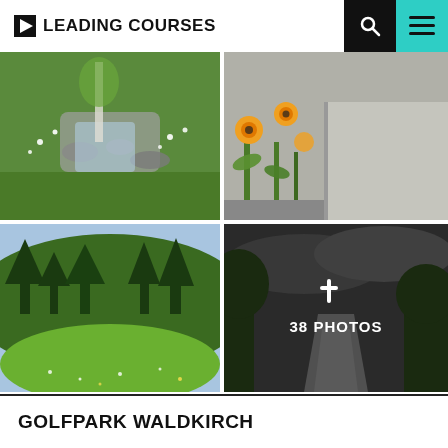LEADING COURSES
[Figure (photo): Green meadow with white wildflowers and a rocky stream]
[Figure (photo): Orange poppies growing beside a stone curb or wall]
[Figure (photo): Golf course fairway with green hills and conifer trees]
[Figure (photo): Dark moody golf course path with trees, overlaid with + 38 PHOTOS]
GOLFPARK WALDKIRCH